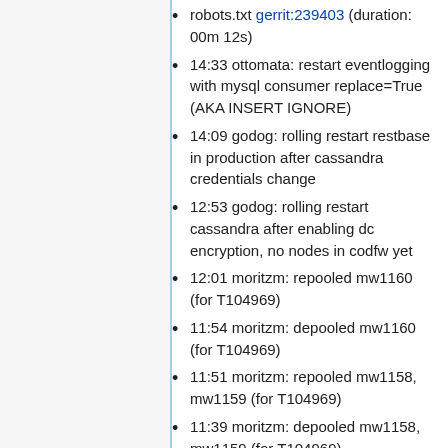robots.txt gerrit:239403 (duration: 00m 12s)
14:33 ottomata: restart eventlogging with mysql consumer replace=True (AKA INSERT IGNORE)
14:09 godog: rolling restart restbase in production after cassandra credentials change
12:53 godog: rolling restart cassandra after enabling dc encryption, no nodes in codfw yet
12:01 moritzm: repooled mw1160 (for T104969)
11:54 moritzm: depooled mw1160 (for T104969)
11:51 moritzm: repooled mw1158, mw1159 (for T104969)
11:39 moritzm: depooled mw1158, mw1159 (for T104969)
11:27 moritzm: depooled and